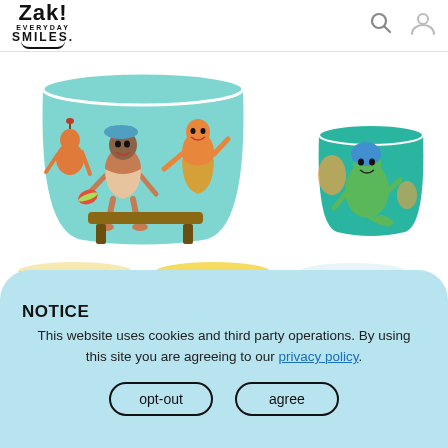Zak! Everyday Smiles logo with search and user icons
[Figure (photo): E-commerce product page showing Zak! branded cups/buckets with Disney Pixar Luca characters. Main large teal bucket with animated characters sitting on bench, smaller teal cup with sea creature character, and three smaller cups in yellow/cream with character graphics at the bottom row.]
NOTICE
This website uses cookies and third party operations. By using this site you are agreeing to our privacy policy.
opt-out
agree